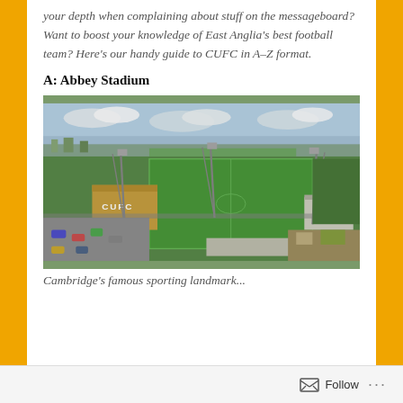your depth when complaining about stuff on the messageboard? Want to boost your knowledge of East Anglia's best football team? Here's our handy guide to CUFC in A–Z format.
A: Abbey Stadium
[Figure (photo): Aerial photograph of Abbey Stadium, home of Cambridge United FC, showing the football pitch, stands with CUFC lettering, floodlight pylons, surrounding greenery and car parks.]
Cambridge's famous sporting landmark...
Follow ...